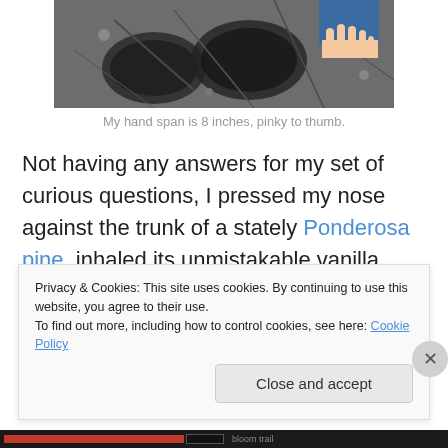[Figure (photo): Close-up photo of large dinosaur footprints in rock/mud, with a human hand visible at the top right for scale.]
My hand span is 8 inches, pinky to thumb.
Not having any answers for my set of curious questions, I pressed my nose against the trunk of a stately Ponderosa pine, inhaled its unmistakable vanilla scent, and recalled how much I love the West. Every new day of this wondrous life brims with things to explore and discover; I
Privacy & Cookies: This site uses cookies. By continuing to use this website, you agree to their use.
To find out more, including how to control cookies, see here: Cookie Policy
Close and accept